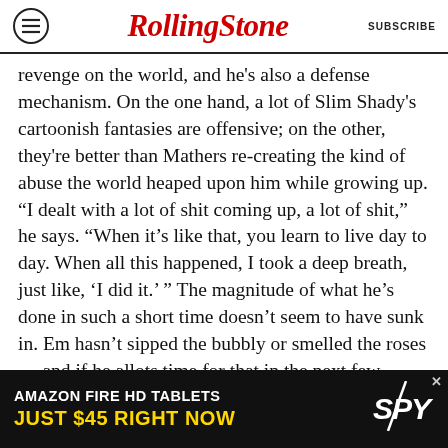RollingStone | SUBSCRIBE
revenge on the world, and he's also a defense mechanism. On the one hand, a lot of Slim Shady's cartoonish fantasies are offensive; on the other, they're better than Mathers re-creating the kind of abuse the world heaped upon him while growing up. “I dealt with a lot of shit coming up, a lot of shit,” he says. “When it’s like that, you learn to live day to day. When all this happened, I took a deep breath, just like, ‘I did it.’ ” The magnitude of what he’s done in such a short time doesn’t seem to have sunk in. Em hasn’t sipped the bubbly or smelled the roses — and if he allots time for that in the next few months, it will have to be at the drive-through. As for the future, he won't
[Figure (infographic): Amazon Fire HD Tablets advertisement banner: 'AMAZON FIRE HD TABLETS JUST $45 RIGHT NOW' with SPY logo, dark background with yellow text for price.]